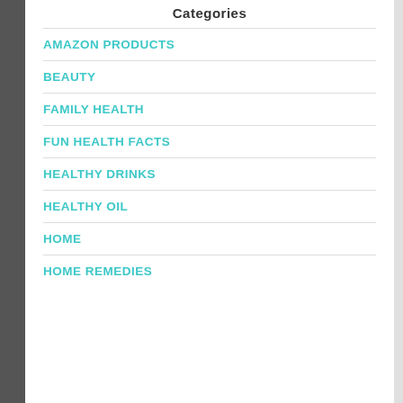Categories
AMAZON PRODUCTS
BEAUTY
FAMILY HEALTH
FUN HEALTH FACTS
HEALTHY DRINKS
HEALTHY OIL
HOME
HOME REMEDIES